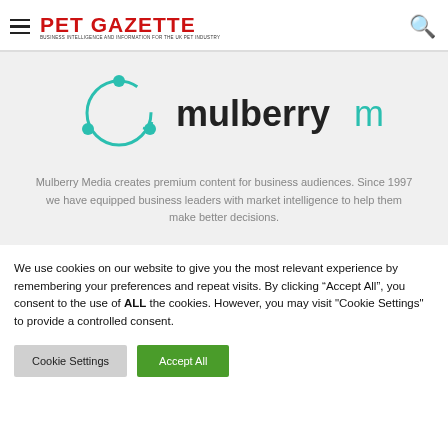PET GAZETTE | BUSINESS INTELLIGENCE AND INFORMATION FOR THE UK PET INDUSTRY
[Figure (logo): Mulberry Media logo with teal circular arrow icon and the text 'mulberry media' in dark and teal fonts]
Mulberry Media creates premium content for business audiences. Since 1997 we have equipped business leaders with market intelligence to help them make better decisions.
We use cookies on our website to give you the most relevant experience by remembering your preferences and repeat visits. By clicking “Accept All”, you consent to the use of ALL the cookies. However, you may visit "Cookie Settings" to provide a controlled consent.
Cookie Settings | Accept All